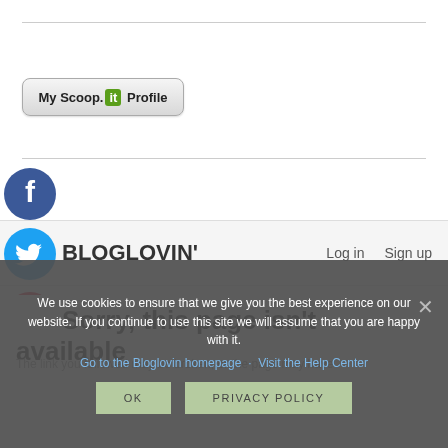[Figure (logo): My Scoop.it Profile button with green 'it' badge]
[Figure (logo): Facebook circular icon (blue with white F)]
[Figure (logo): Twitter circular icon (blue with white bird)]
[Figure (logo): Pinterest circular icon (red with white P)]
BLOGLOVIN'
Log in   Sign up
Sorry, this page isn't available
The link you followed may be broken, or the page may have
We use cookies to ensure that we give you the best experience on our website. If you continue to use this site we will assume that you are happy with it.
Go to the Bloglovin homepage · Visit the Help Center
OK   PRIVACY POLICY